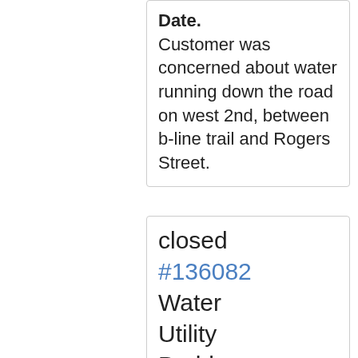Date. Customer was concerned about water running down the road on west 2nd, between b-line trail and Rogers Street.
closed #136082 Water Utility Problems 525 W 17th ST